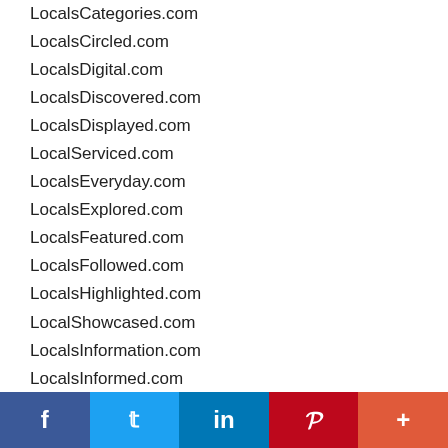LocalsCategories.com
LocalsCircled.com
LocalsDigital.com
LocalsDiscovered.com
LocalsDisplayed.com
LocalServiced.com
LocalsEveryday.com
LocalsExplored.com
LocalsFeatured.com
LocalsFollowed.com
LocalsHighlighted.com
LocalShowcased.com
LocalsInformation.com
LocalsInformed.com
LocalsLiked.com
LocalsLinked.com
LocalsListed.com
LocalsListings.com
LocalsMarketed...
[Figure (infographic): Social sharing bar with Facebook, Twitter, LinkedIn, Pinterest, and More buttons]